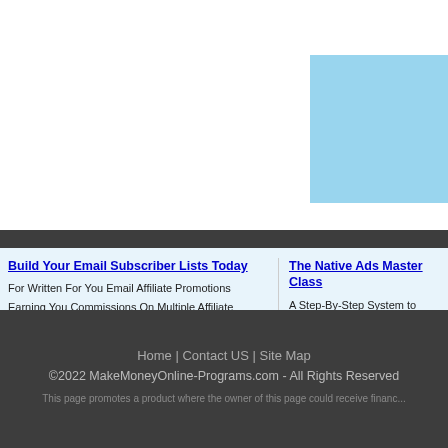[Figure (other): Light blue rectangle box partially visible at top-right corner of page, clipped at right edge]
Build Your Email Subscriber Lists Today
For Written For You Email Affiliate Promotions Earning You Commissions On Multiple Affiliate Networks
www.covertcommissions.com/
The Native Ads Master Class
A Step-By-Step System to Build a Highly Profitable Affiliate Business With Native A...
www.revenuetactics.com/c-native-course...
Home | Contact US | Site Map
©2022 MakeMoneyOnline-Programs.com - All Rights Reserved
This page promotes a product where the owner of this page could receive financ...